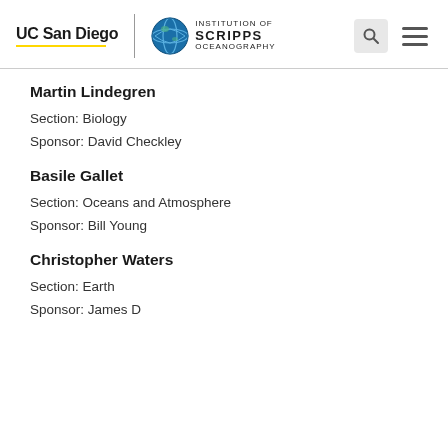UC San Diego | Scripps Institution of Oceanography
Martin Lindegren
Section: Biology
Sponsor: David Checkley
Basile Gallet
Section: Oceans and Atmosphere
Sponsor: Bill Young
Christopher Waters
Section: Earth
Sponsor: James D...